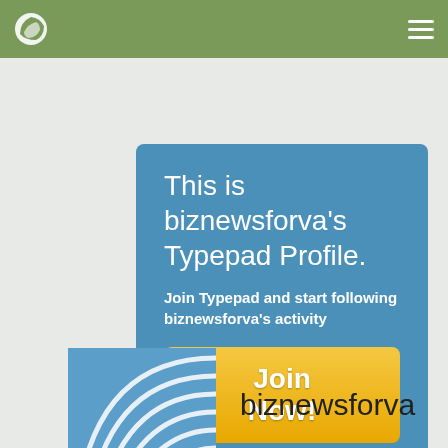Typepad navigation bar with logo and menu icon
This is biznewsforva's Typepad Profile.
Join Typepad and start following biznewsforva's activity
Join Now!
Already a member? Sign In
[Figure (logo): biznewsforva profile avatar — blue square with white curved line pattern]
biznewsforva